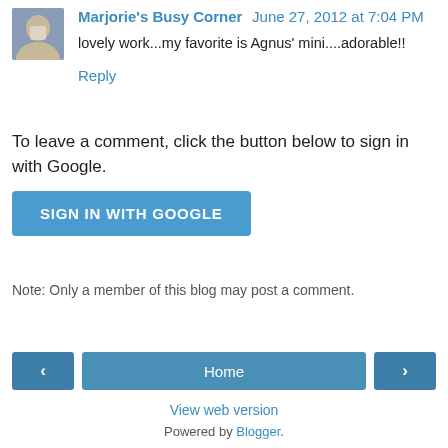Marjorie's Busy Corner   June 27, 2012 at 7:04 PM
lovely work...my favorite is Agnus' mini....adorable!!
Reply
To leave a comment, click the button below to sign in with Google.
SIGN IN WITH GOOGLE
Note: Only a member of this blog may post a comment.
Home
View web version
Powered by Blogger.